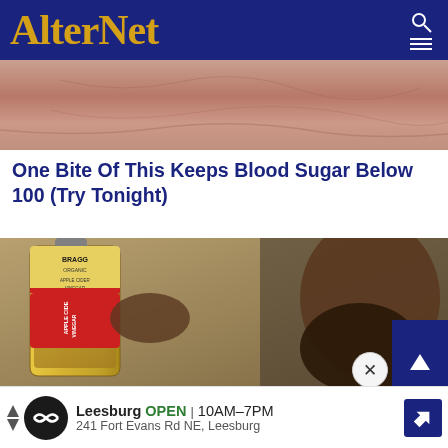AlterNet
[Figure (photo): Close-up photo of skin/body, partially visible at top of page]
One Bite Of This Keeps Blood Sugar Below 100 (Try Tonight)
[Figure (photo): Man drinking from a bottle of Bragg Organic Apple Cider Vinegar]
Leesburg OPEN 10AM–7PM 241 Fort Evans Rd NE, Leesburg